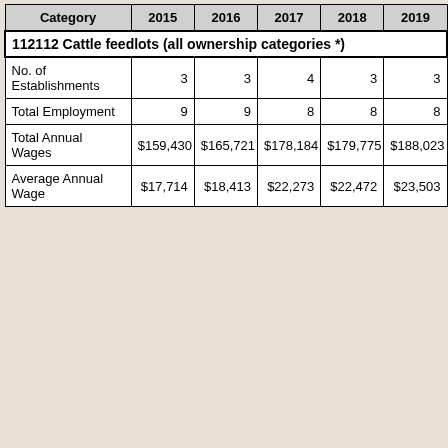| Category | 2015 | 2016 | 2017 | 2018 | 2019 |
| --- | --- | --- | --- | --- | --- |
| No. of Establishments | 3 | 3 | 4 | 3 | 3 |
| Total Employment | 9 | 9 | 8 | 8 | 8 |
| Total Annual Wages | $159,430 | $165,721 | $178,184 | $179,775 | $188,023 |
| Average Annual Wage | $17,714 | $18,413 | $22,273 | $22,472 | $23,503 |